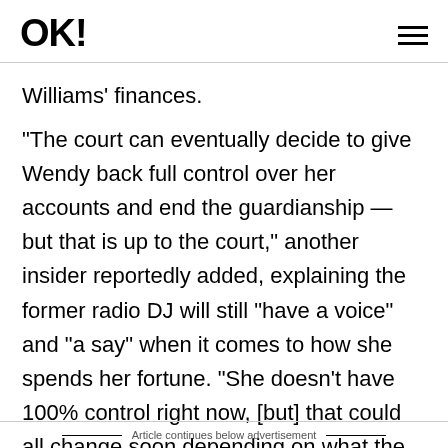OK!
Williams' finances.
"The court can eventually decide to give Wendy back full control over her accounts and end the guardianship — but that is up to the court," another insider reportedly added, explaining the former radio DJ will still "have a voice" and "a say" when it comes to how she spends her fortune. "She doesn't have 100% control right now, [but] that could all change soon depending on what the court decides."
Article continues below advertisement